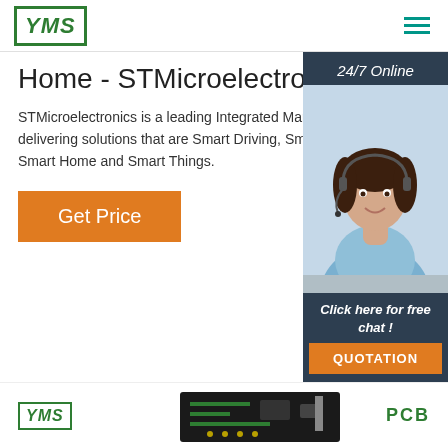YMS [logo]
Home - STMicroelectronics
STMicroelectronics is a leading Integrated Manufacturer delivering solutions that are Smart Driving, Smart Industry, Smart Home and Smart Things.
Get Price
[Figure (photo): Customer service agent wearing a headset, smiling, with '24/7 Online' label and 'Click here for free chat!' and 'QUOTATION' button]
[Figure (logo): YMS logo (bottom)]
[Figure (photo): PCB circuit board image at bottom center]
PCB